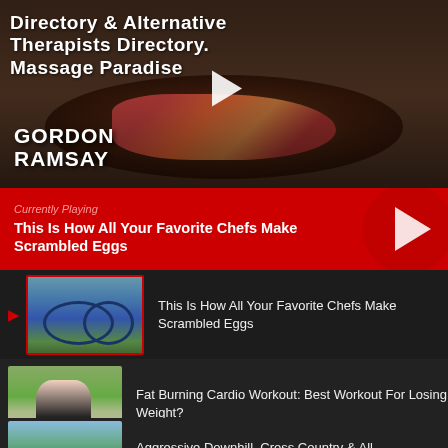[Figure (screenshot): Video thumbnail showing food/cooking content with Gordon Ramsay branding. Overlay text reads 'Directory & Alternative Therapists Directory. Massage Paradise.' with a play button in the center. 'GORDON RAMSAY' name appears at bottom left.]
Currently Playing
This Is How All Your Favorite Chefs Make Scrambled Eggs
This Is How All Your Favorite Chefs Make Scrambled Eggs
Fat Burning Cardio Workout: Best Workout For Losing Weight?
Aggressive Downhill, Cross Country & All